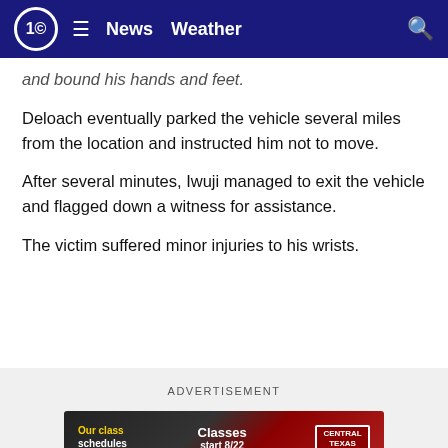10 News Weather
and bound his hands and feet.
Deloach eventually parked the vehicle several miles from the location and instructed him not to move.
After several minutes, Iwuji managed to exit the vehicle and flagged down a witness for assistance.
The victim suffered minor injuries to his wrists.
ADVERTISEMENT
[Figure (other): Advertisement banner for Central Texas College showing 'Our class schedules fit your life', 'Classes start 8/22 Enroll now', with Central Texas College logo]
Further investigation and statements from Iwuji positively identified for his inv...